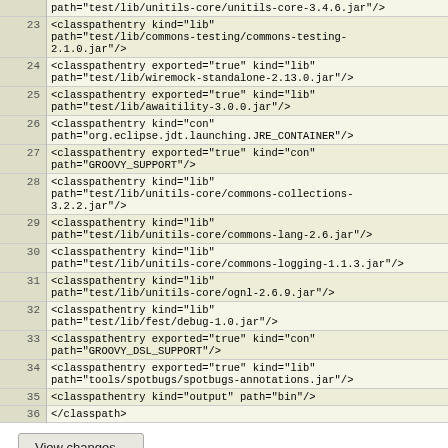| line | code |
| --- | --- |
|  | path="test/lib/unitils-core/unitils-core-3.4.6.jar"/> |
| 23 |         <classpathentry kind="lib" path="test/lib/commons-testing/commons-testing-2.1.0.jar"/> |
| 24 |         <classpathentry exported="true" kind="lib" path="test/lib/wiremock-standalone-2.13.0.jar"/> |
| 25 |         <classpathentry exported="true" kind="lib" path="test/lib/awaitility-3.0.0.jar"/> |
| 26 |         <classpathentry kind="con" path="org.eclipse.jdt.launching.JRE_CONTAINER"/> |
| 27 |         <classpathentry exported="true" kind="con" path="GROOVY_SUPPORT"/> |
| 28 |         <classpathentry kind="lib" path="test/lib/unitils-core/commons-collections-3.2.2.jar"/> |
| 29 |         <classpathentry kind="lib" path="test/lib/unitils-core/commons-lang-2.6.jar"/> |
| 30 |         <classpathentry kind="lib" path="test/lib/unitils-core/commons-logging-1.1.3.jar"/> |
| 31 |         <classpathentry kind="lib" path="test/lib/unitils-core/ognl-2.6.9.jar"/> |
| 32 |         <classpathentry kind="lib" path="test/lib/fest/debug-1.0.jar"/> |
| 33 |         <classpathentry exported="true" kind="con" path="GROOVY_DSL_SUPPORT"/> |
| 34 |         <classpathentry exported="true" kind="lib" path="tools/spotbugs/spotbugs-annotations.jar"/> |
| 35 |         <classpathentry kind="output" path="bin"/> |
| 36 | </classpath> |
View changes...
Note: See TracBrowser for help on using the repository browser.